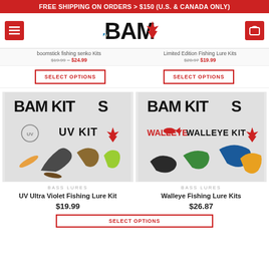FREE SHIPPING ON ORDERS > $150 (U.S. & CANADA ONLY)
[Figure (logo): BAM fishing brand logo with maple leaf]
boomstick fishing senko kits $19.99 – $24.99 | Limited Edition Fishing Lure Kits $28.97 $19.99
SELECT OPTIONS | SELECT OPTIONS
[Figure (photo): BAM Kits UV Kit product image with various fishing lures]
[Figure (photo): BAM Kits Walleye Kit product image with various fishing lures]
BASS LURES
UV Ultra Violet Fishing Lure Kit
$19.99
BASS LURES
Walleye Fishing Lure Kits
$26.87